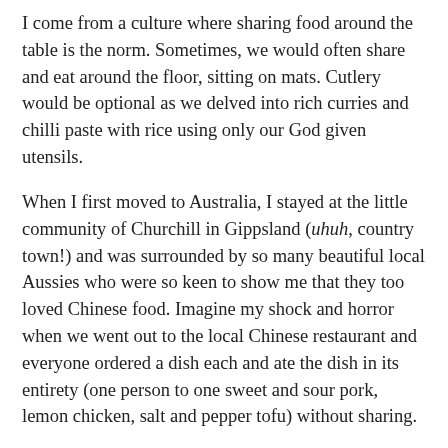I come from a culture where sharing food around the table is the norm. Sometimes, we would often share and eat around the floor, sitting on mats. Cutlery would be optional as we delved into rich curries and chilli paste with rice using only our God given utensils.
When I first moved to Australia, I stayed at the little community of Churchill in Gippsland (uhuh, country town!) and was surrounded by so many beautiful local Aussies who were so keen to show me that they too loved Chinese food. Imagine my shock and horror when we went out to the local Chinese restaurant and everyone ordered a dish each and ate the dish in its entirety (one person to one sweet and sour pork, lemon chicken, salt and pepper tofu) without sharing.
I remember once when my Malaysian housemate and I were making Chrysanthemum tea in the communal kitchen over a big pot, when two of our Aussie housemates came in and looked at us and promptly